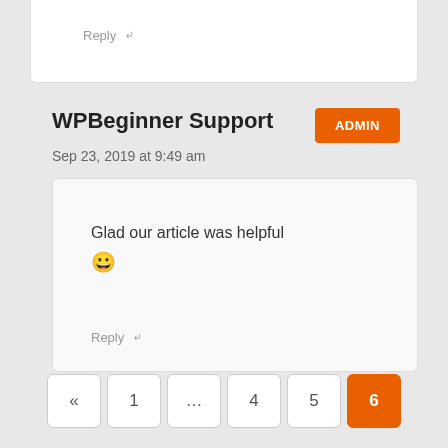Reply ↵
WPBeginner Support
ADMIN
Sep 23, 2019 at 9:49 am
Glad our article was helpful 😀
Reply ↵
« 1 … 4 5 6